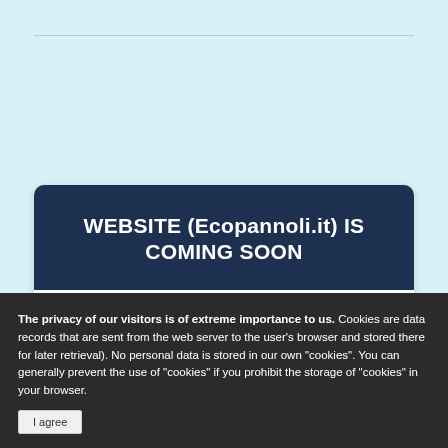WEBSITE (Ecopannoli.it) IS COMING SOON
The privacy of our visitors is of extreme importance to us. Cookies are data records that are sent from the web server to the user's browser and stored there for later retrieval). No personal data is stored in our own "cookies". You can generally prevent the use of "cookies" if you prohibit the storage of "cookies" in your browser.
I agree